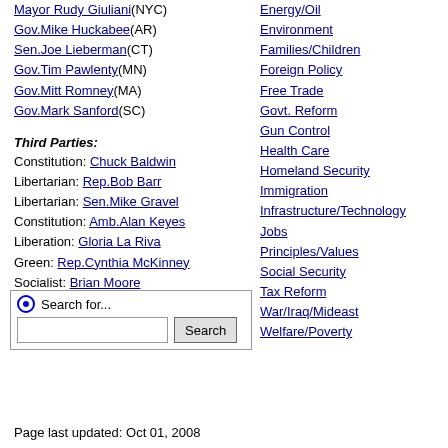Mayor Rudy Giuliani(NYC)
Gov.Mike Huckabee(AR)
Sen.Joe Lieberman(CT)
Gov.Tim Pawlenty(MN)
Gov.Mitt Romney(MA)
Gov.Mark Sanford(SC)
Third Parties:
Constitution: Chuck Baldwin
Libertarian: Rep.Bob Barr
Libertarian: Sen.Mike Gravel
Constitution: Amb.Alan Keyes
Liberation: Gloria La Riva
Green: Rep.Cynthia McKinney
Socialist: Brian Moore
Independent: Ralph Nader
Libertarian: Rep.Ron Paul
Energy/Oil
Environment
Families/Children
Foreign Policy
Free Trade
Govt. Reform
Gun Control
Health Care
Homeland Security
Immigration
Infrastructure/Technology
Jobs
Principles/Values
Social Security
Tax Reform
War/Iraq/Mideast
Welfare/Poverty
Page last updated: Oct 01, 2008